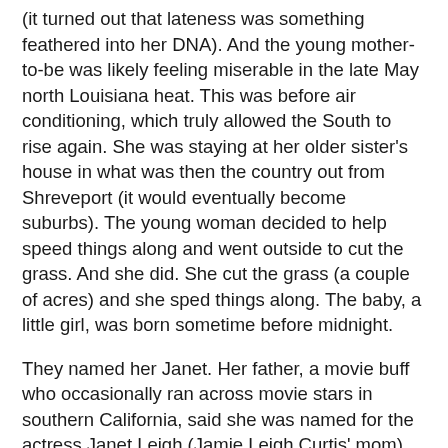(it turned out that lateness was something feathered into her DNA). And the young mother-to-be was likely feeling miserable in the late May north Louisiana heat. This was before air conditioning, which truly allowed the South to rise again. She was staying at her older sister's house in what was then the country out from Shreveport (it would eventually become suburbs). The young woman decided to help speed things along and went outside to cut the grass. And she did. She cut the grass (a couple of acres) and she sped things along. The baby, a little girl, was born sometime before midnight.
They named her Janet. Her father, a movie buff who occasionally ran across movie stars in southern California, said she was named for the actress Janet Leigh (Jamie Leigh Curtis' mom) who starred in the movie “My Sister Eileen.” Her mother denied that story, and frankly, I believed her mother. But I always liked her father’s story.
Two years later, a little brother joined her. And then 11 years after that, another little brother came along. I’ll do the math for you – her father was 59 when her youngest brother was